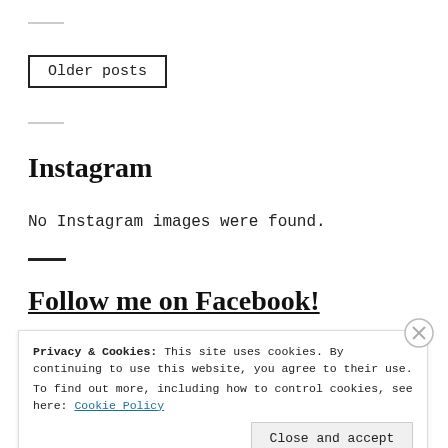[Figure (other): Light gray horizontal rule divider]
Older posts
[Figure (other): Light gray horizontal rule divider]
Instagram
No Instagram images were found.
[Figure (other): Dark horizontal rule divider]
Follow me on Facebook!
Privacy & Cookies: This site uses cookies. By continuing to use this website, you agree to their use.
To find out more, including how to control cookies, see here: Cookie Policy
Close and accept